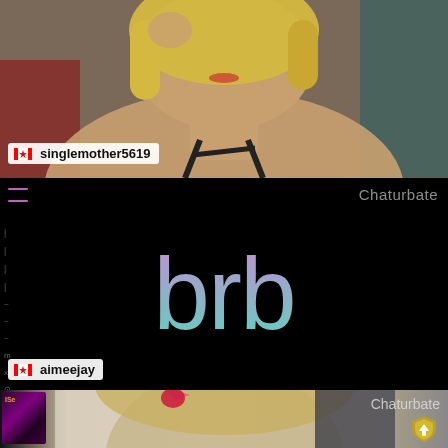[Figure (screenshot): Live streaming platform screenshot showing three panels: top panel with a blonde person on camera with username 'singlemother5619' and Canadian flag, middle panel showing black screen with 'brb' text in purple-to-teal gradient color and 'Chaturbate' branding with username 'aimeejay', bottom panel showing another stream thumbnail with 'Chaturbate' branding and a shield icon.]